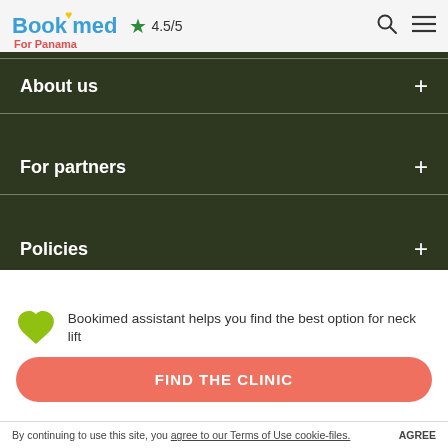Bookimed ★ 4.5/5
For Panama
About us +
For partners +
Policies +
Contact center
🇺🇸 1-800-550-00-89
Bookimed assistant helps you find the best option for neck lift
FIND THE CLINIC
By continuing to use this site, you agree to our Terms of Use cookie-files. AGREE